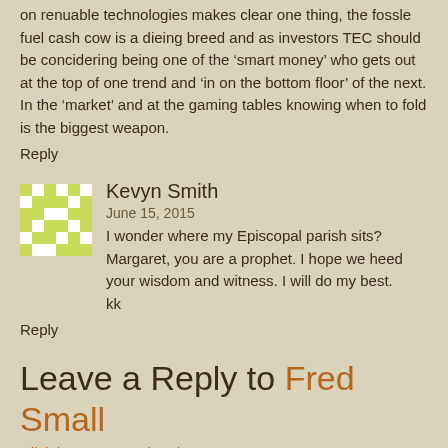on renuable technologies makes clear one thing, the fossle fuel cash cow is a dieing breed and as investors TEC should be concidering being one of the ‘smart money’ who gets out at the top of one trend and ‘in on the bottom floor’ of the next. In the ‘market’ and at the gaming tables knowing when to fold is the biggest weapon.
Reply
Kevyn Smith
June 15, 2015
I wonder where my Episcopal parish sits? Margaret, you are a prophet. I hope we heed your wisdom and witness. I will do my best.
kk
Reply
Leave a Reply to Fred Small
Click here to cancel reply.
Name (required)